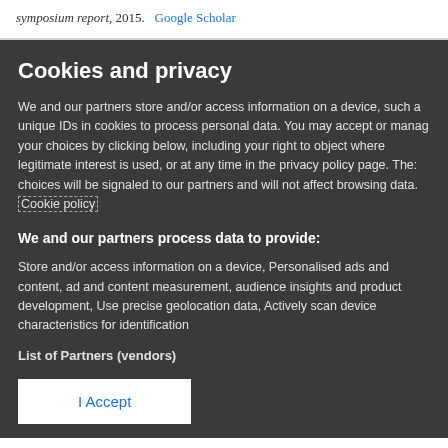symposium report, 2015.   Google Scholar
Cookies and privacy
We and our partners store and/or access information on a device, such as unique IDs in cookies to process personal data. You may accept or manage your choices by clicking below, including your right to object where legitimate interest is used, or at any time in the privacy policy page. These choices will be signaled to our partners and will not affect browsing data. Cookie policy
We and our partners process data to provide:
Store and/or access information on a device, Personalised ads and content, ad and content measurement, audience insights and product development, Use precise geolocation data, Actively scan device characteristics for identification
List of Partners (vendors)
I Accept